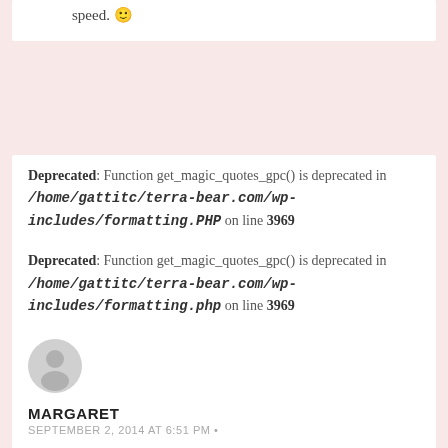speed. 🙂
Deprecated: Function get_magic_quotes_gpc() is deprecated in /home/gattitc/terra-bear.com/wp-includes/formatting.PHP on line 3969
Deprecated: Function get_magic_quotes_gpc() is deprecated in /home/gattitc/terra-bear.com/wp-includes/formatting.php on line 3969
[Figure (illustration): Default user avatar - grey silhouette of a person on light grey circle background]
MARGARET
SEPTEMBER 2, 2014 AT 6:51 PM •
Deprecated: Function get_magic_quotes_gpc() is deprecated in /home/gattitc/terra-bear.com/wp-includes/formatting.php on line 3969
REPLY